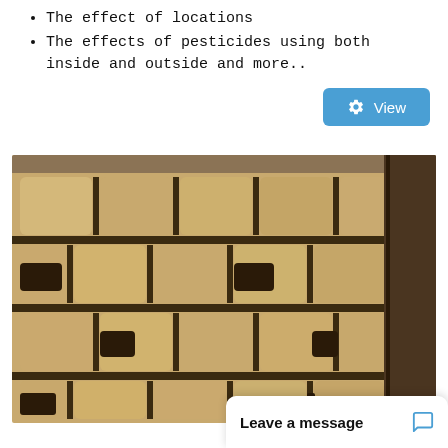The effect of locations
The effects of pesticides using both inside and outside and more..
[Figure (screenshot): A blue 'View' button with a settings/gear icon on the right side of the page]
[Figure (photo): Close-up photo of a woven or stacked pattern of light tan/beige rectangular blocks with dark gaps between them, resembling a brick or wicker wall structure]
Leave a message